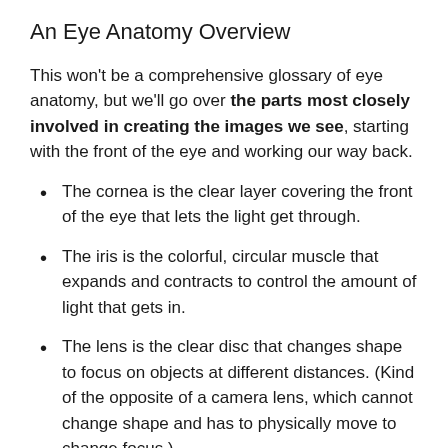An Eye Anatomy Overview
This won't be a comprehensive glossary of eye anatomy, but we'll go over the parts most closely involved in creating the images we see, starting with the front of the eye and working our way back.
The cornea is the clear layer covering the front of the eye that lets the light get through.
The iris is the colorful, circular muscle that expands and contracts to control the amount of light that gets in.
The lens is the clear disc that changes shape to focus on objects at different distances. (Kind of the opposite of a camera lens, which cannot change shape and has to physically move to change focus.)
The retina is the thin layer of tissue at the back of the eye where the photoreceptors (light-sensitive